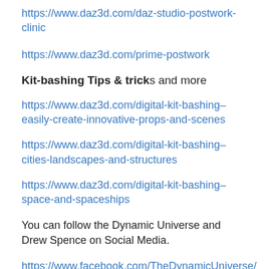https://www.daz3d.com/daz-studio-postwork-clinic
https://www.daz3d.com/prime-postwork
Kit-bashing Tips & tricks and more
https://www.daz3d.com/digital-kit-bashing–easily-create-innovative-props-and-scenes
https://www.daz3d.com/digital-kit-bashing–cities-landscapes-and-structures
https://www.daz3d.com/digital-kit-bashing–space-and-spaceships
You can follow the Dynamic Universe and Drew Spence on Social Media.
https://www.facebook.com/TheDynamicUniverse/